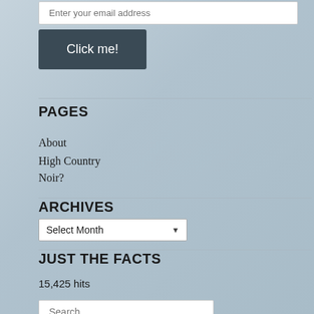Enter your email address
Click me!
PAGES
About
High Country Noir?
ARCHIVES
Select Month
JUST THE FACTS
15,425 hits
Search ...